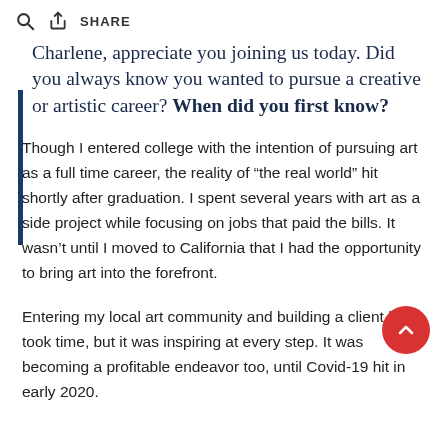SHARE
Charlene, appreciate you joining us today. Did you always know you wanted to pursue a creative or artistic career? When did you first know?
Though I entered college with the intention of pursuing art as a full time career, the reality of “the real world” hit shortly after graduation. I spent several years with art as a side project while focusing on jobs that paid the bills. It wasn’t until I moved to California that I had the opportunity to bring art into the forefront.
Entering my local art community and building a client base took time, but it was inspiring at every step. It was becoming a profitable endeavor too, until Covid-19 hit in early 2020.